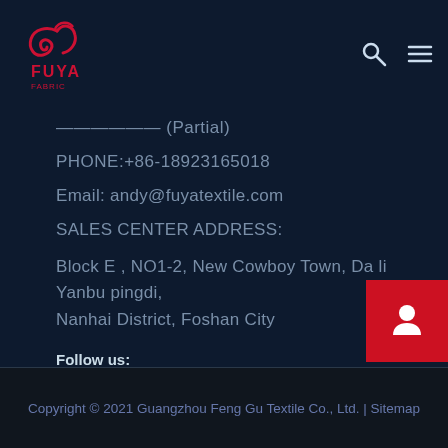[Figure (logo): Fuya textile brand logo in red on dark navy background, top left]
PHONE:+86-18923165018
Email: andy@fuyatextile.com
SALES CENTER ADDRESS:
Block E , NO1-2, New Cowboy Town, Da li Yanbu pingdi, Nanhai District, Foshan City
Follow us:
[Figure (illustration): Facebook circular icon in dark blue/grey]
[Figure (illustration): Red support/customer service button with headset icon, bottom right]
Copyright © 2021 Guangzhou Feng Gu Textile Co., Ltd. | Sitemap